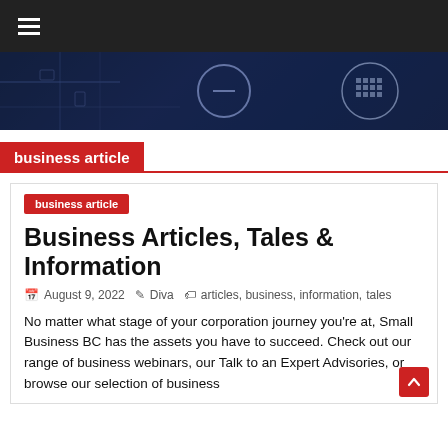≡ (hamburger menu)
[Figure (photo): Dark blue technology-themed hero banner with circuit board and glowing circular icons]
business article
business article
Business Articles, Tales & Information
August 9, 2022   Diva   articles, business, information, tales
No matter what stage of your corporation journey you're at, Small Business BC has the assets you have to succeed. Check out our range of business webinars, our Talk to an Expert Advisories, or browse our selection of business